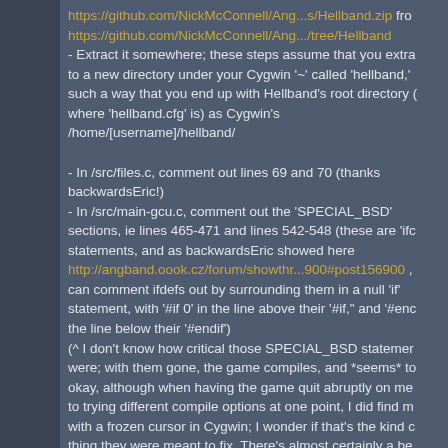https://github.com/NickMcConnell/Ang...s/Hellband.zip from https://github.com/NickMcConnell/Ang.../tree/Hellband
- Extract it somewhere; these steps assume that you extra to a new directory under your Cygwin '~' called 'hellband,' such a way that you end up with Hellband's root directory ( where 'hellband.cfg' is) as Cygwin's /home/[username]/hellband/

- In /src/files.c, comment out lines 69 and 70 (thanks backwardsEric!)
- In /src/main-gcu.c, comment out the 'SPECIAL_BSD' sections, ie lines 465-471 and lines 542-548 (these are 'ifo statements, and as backwardsEric showed here http://angband.oook.cz/forum/showthr...900#post156900 , can comment ifdefs out by surrounding them in a null 'if' statement, with '#if 0' in the line above their '#if," and '#enc the line below their '#endif')
(^ I don't know how critical those SPECIAL_BSD statemer were; with them gone, the game compiles, and *seems* to okay, although when having the game quit abruptly on me to trying different compile options at one point, I did find m with a frozen cursor in Cygwin; I wonder if that's the kind c thing they were meant to fix. There's almost certainly a be fix for them not compiling than just commenting them out.)

- In /src/makefile.org:
-- In the '## Variation -- Only support "main-gcu.c" (not "ma x11.c")' section:
--- Uncomment lines 138 and 139, 'CFLAGS' and 'LIBS'
--- Delete '-ltermcap' from LIBS (line 139)